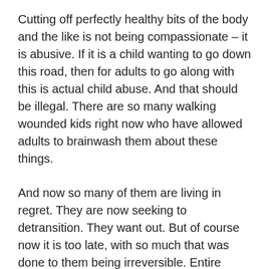Cutting off perfectly healthy bits of the body and the like is not being compassionate – it is abusive. If it is a child wanting to go down this road, then for adults to go along with this is actual child abuse. And that should be illegal. There are so many walking wounded kids right now who have allowed adults to brainwash them about these things.
And now so many of them are living in regret. They are now seeking to detransition. They want out. But of course now it is too late, with so much that was done to them being irreversible. Entire websites now exist dedicated to those who regret their transition. Here is just one for example: sexchangeregret.com/